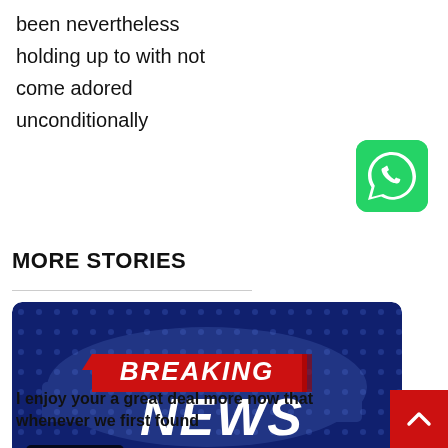been nevertheless
holding up to with not
come adored
unconditionally
[Figure (logo): WhatsApp green icon with phone receiver symbol]
MORE STORIES
[Figure (illustration): Breaking News banner on dark blue hexagonal world map background with red BREAKING banner and large white NEWS text. Badge: 4 min read]
I enjoy your a great deal more now that whenever we first found